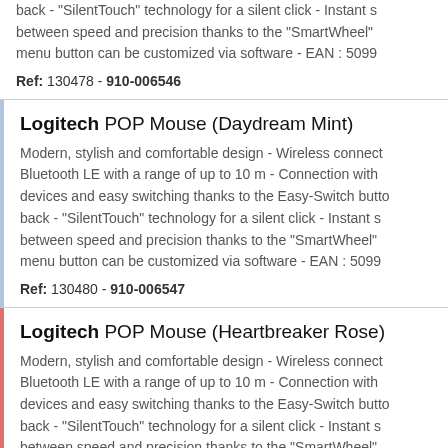back - "SilentTouch" technology for a silent click - Instant s between speed and precision thanks to the "SmartWheel" menu button can be customized via software - EAN : 5099
Ref: 130478 - 910-006546
Logitech POP Mouse (Daydream Mint)
Modern, stylish and comfortable design - Wireless connect Bluetooth LE with a range of up to 10 m - Connection with devices and easy switching thanks to the Easy-Switch butto back - "SilentTouch" technology for a silent click - Instant s between speed and precision thanks to the "SmartWheel" menu button can be customized via software - EAN : 5099
Ref: 130480 - 910-006547
Logitech POP Mouse (Heartbreaker Rose)
Modern, stylish and comfortable design - Wireless connect Bluetooth LE with a range of up to 10 m - Connection with devices and easy switching thanks to the Easy-Switch butto back - "SilentTouch" technology for a silent click - Instant s between speed and precision thanks to the "SmartWheel" menu button can be customized via software - EAN : 5099
Ref: 130479 - 910-006548